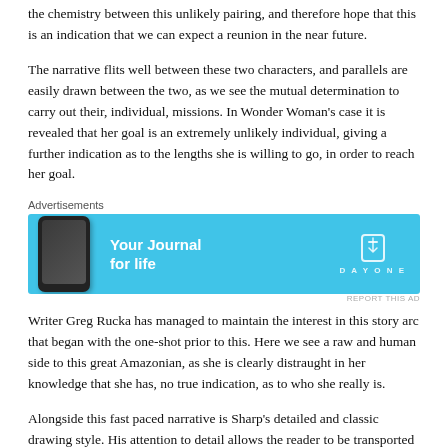the chemistry between this unlikely pairing, and therefore hope that this is an indication that we can expect a reunion in the near future.
The narrative flits well between these two characters, and parallels are easily drawn between the two, as we see the mutual determination to carry out their, individual, missions. In Wonder Woman's case it is revealed that her goal is an extremely unlikely individual, giving a further indication as to the lengths she is willing to go, in order to reach her goal.
[Figure (other): Advertisement banner for 'Day One: Your Journal for life' app, showing a smartphone and the app's name on a light blue background with the Day One logo.]
Writer Greg Rucka has managed to maintain the interest in this story arc that began with the one-shot prior to this. Here we see a raw and human side to this great Amazonian, as she is clearly distraught in her knowledge that she has, no true indication, as to who she really is.
Alongside this fast paced narrative is Sharp's detailed and classic drawing style. His attention to detail allows the reader to be transported to this wild and hostile jungle and engrosses them in Wonder Woman's path of self-discovery.
In all, 'Wonder Woman: Rebirth #1' is a compelling read. It is a rare thing to see a vulnerable side to this prolific character, so this issue is a welcome addition to her tale. We are invited to experience the fear and hurt Wonder Woman is undergoing, as she sets out to find